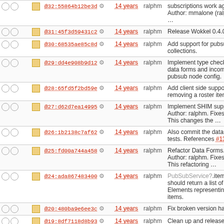|  |  | hash | age | author | message |
| --- | --- | --- | --- | --- | --- |
| ○ ○ | ▪ | @32:55864b12be3d ⚙ | 14 years | ralphm | subscriptions work again. Author: mmalone (ralphn … |
| ○ ○ | ▪ | @31:45f3d59431c2 ⚙ | 14 years | ralphm | Release Wokkel 0.4.0. |
| ○ ○ | ▪ | @30:68535ae85c8d ⚙ | 14 years | ralphm | Add support for pubsub collections. |
| ○ ○ | ▪ | @29:dd4e908b9d12 ⚙ | 14 years | ralphm | Implement type checking in data forms and incoming pubsub node config. … |
| ○ ○ | ▪ | @28:65fd5f2bd59e ⚙ | 14 years | ralphm | Add client side support for removing a roster item. |
| ○ ○ | ▪ | @27:d62d7ea14995 ⚙ | 14 years | ralphm | Implement SHIM support. Author: ralphm. Fixes #3. This changes the … |
| ○ ○ | ▪ | @26:1b2138c7af62 ⚙ | 14 years | ralphm | Also commit the data forms tests. References #13. |
| ○ ○ | ▪ | @25:fd00a744a458 ⚙ | 14 years | ralphm | Refactor Data Forms. Author: ralphm. Fixes #3. This refactoring … |
| ○ ○ | ▪ | @24:ada867483400 ⚙ | 14 years | ralphm | PubSubService?.items should return a list of Elements representing items. |
| ○ ○ | ▪ | @20:480ba9e6ee3c ⚙ | 14 years | ralphm | Fix broken version hand… |
| ○ ○ | ▪ | @19:8df7118d8b93 ⚙ | 14 years | ralphm | Clean up and release Wokkel 0.3.0. |
| ○ ○ | ▪ | @18:4812cc70807d ⚙ | 14 years | ralphm | Add maxItems argument. PubSubClient?.items(). of docs and tests… |